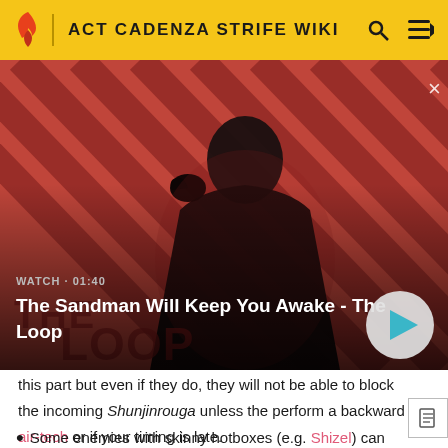ACT CADENZA STRIFE WIKI
[Figure (screenshot): Video thumbnail for 'The Sandman Will Keep You Awake - The Loop' with a dark-cloaked figure holding a raven on a red diagonal-striped background. Watch time shown as 01:40.]
this part but even if they do, they will not be able to block the incoming Shunjinrouga unless the perform a backward air-tech or if your timing is late.
Some enemies with skinny hotboxes (e.g. Shizel) can